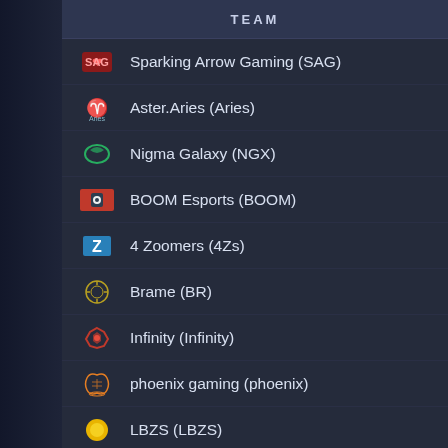| TEAM |
| --- |
| Sparking Arrow Gaming (SAG) |
| Aster.Aries (Aries) |
| Nigma Galaxy (NGX) |
| BOOM Esports (BOOM) |
| 4 Zoomers (4Zs) |
| Brame (BR) |
| Infinity (Infinity) |
| phoenix gaming (phoenix) |
| LBZS (LBZS) |
| Team Magma (Magma) |